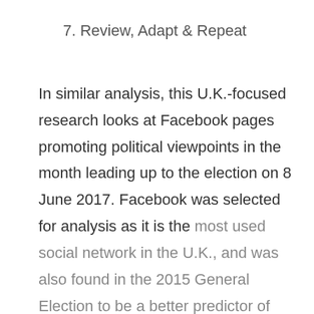7. Review, Adapt & Repeat
In similar analysis, this U.K.-focused research looks at Facebook pages promoting political viewpoints in the month leading up to the election on 8 June 2017. Facebook was selected for analysis as it is the most used social network in the U.K., and was also found in the 2015 General Election to be a better predictor of voting results than polling. Given the scope of possible